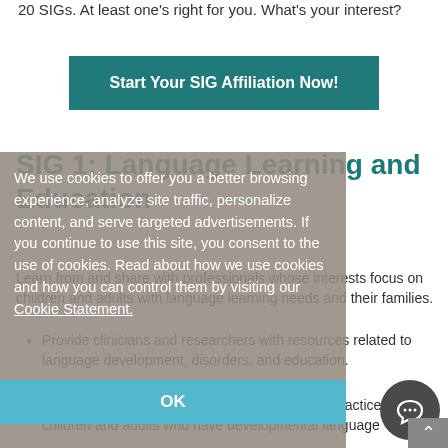20 SIGs. At least one's right for you. What's your interest?
Start Your SIG Affiliation Now!
SIG 1: Language Learning and Education
We use cookies to offer you a better browsing experience, analyze site traffic, personalize content, and serve targeted advertisements. If you continue to use this site, you consent to the use of cookies. Read about how we use cookies and how you can control them by visiting our Cookie Statement.
Learn from and share with professionals whose interests focus on children and adults with language learning needs and their families.
Provide clinicians and researchers with resources related to language development, disorders, and education.
Promote excellence in evidence-based clinical practice with children and adults who have developmental language